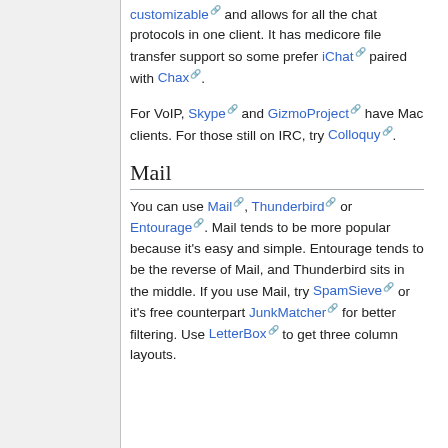customizable and allows for all the chat protocols in one client. It has medicore file transfer support so some prefer iChat paired with Chax.
For VoIP, Skype and GizmoProject have Mac clients. For those still on IRC, try Colloquy.
Mail
You can use Mail, Thunderbird or Entourage. Mail tends to be more popular because it's easy and simple. Entourage tends to be the reverse of Mail, and Thunderbird sits in the middle. If you use Mail, try SpamSieve or it's free counterpart JunkMatcher for better filtering. Use LetterBox to get three column layouts.